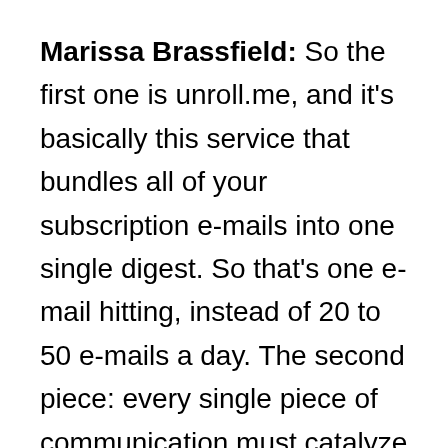Marissa Brassfield: So the first one is unroll.me, and it's basically this service that bundles all of your subscription e-mails into one single digest. So that's one e-mail hitting, instead of 20 to 50 e-mails a day. The second piece: every single piece of communication must catalyze action or create progress. If you use that little guide in your head,